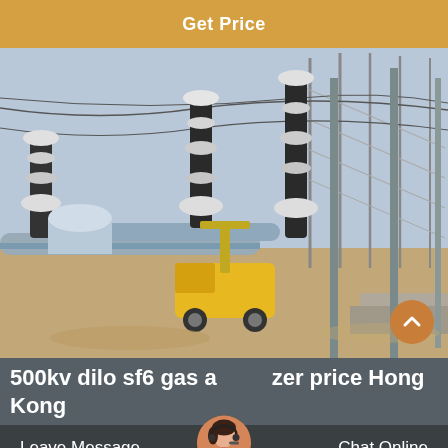Get Price
[Figure (photo): Electrical substation with high-voltage equipment including insulators, busbars, and GIS switchgear. A yellow utility truck is visible in the foreground among the transmission infrastructure under a clear sky.]
500kv dilo sf6 gas analyzer price Hong Kong
Leave Message   Chat Online